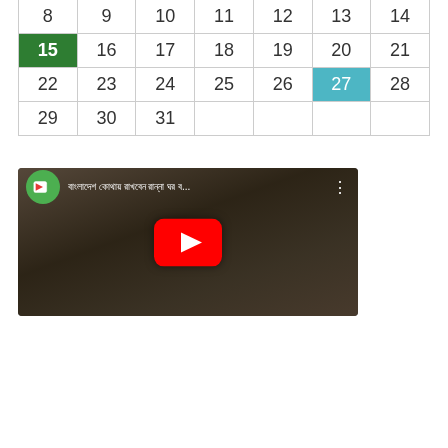| Sun | Mon | Tue | Wed | Thu | Fri | Sat |
| --- | --- | --- | --- | --- | --- | --- |
| 8 | 9 | 10 | 11 | 12 | 13 | 14 |
| 15 | 16 | 17 | 18 | 19 | 20 | 21 |
| 22 | 23 | 24 | 25 | 26 | 27 | 28 |
| 29 | 30 | 31 |  |  |  |  |
[Figure (screenshot): YouTube video thumbnail showing a person cooking over a fire with Bengali text title and YouTube play button]